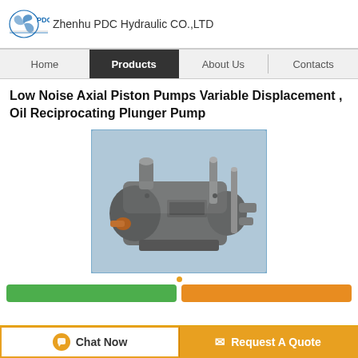Zhenhu PDC Hydraulic CO.,LTD
Low Noise Axial Piston Pumps Variable Displacement , Oil Reciprocating Plunger Pump
[Figure (photo): Photograph of a hydraulic axial piston pump / plunger pump unit, metallic grey color with various ports and fittings, wrapped partially in blue plastic, placed against a light blue background]
Chat Now
Request A Quote